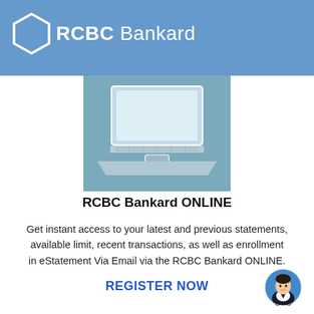[Figure (logo): RCBC Bankard logo with hexagon shape and white text on blue header bar]
[Figure (illustration): White laptop computer icon on teal/steel-blue rectangle background]
RCBC Bankard ONLINE
Get instant access to your latest and previous statements, available limit, recent transactions, as well as enrollment in eStatement Via Email via the RCBC Bankard ONLINE.
REGISTER NOW
[Figure (photo): Circular avatar photo of a young man in a dark suit jacket against a blue background]